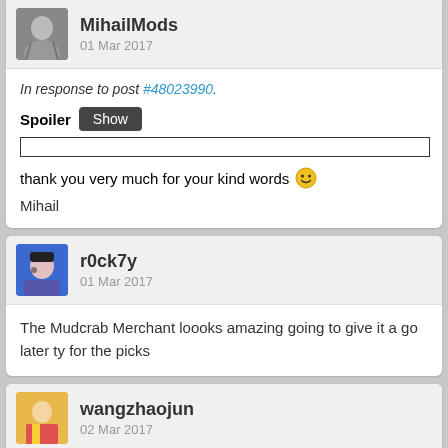MihailMods — 01 Mar 2017
In response to post #48023990.
Spoiler [Show]
thank you very much for your kind words 🙂
Mihail
r0ck7y — 01 Mar 2017
The Mudcrab Merchant loooks amazing going to give it a go later ty for the picks
wangzhaojun — 02 Mar 2017
Pretty good, I think it should be more abundant. Thank.
Smiyonhjyon